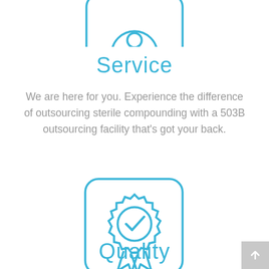[Figure (illustration): Partial view of a teal/blue outlined icon showing a handshake or service symbol inside a rounded rectangle card, cropped at the top of the page]
Service
We are here for you. Experience the difference of outsourcing sterile compounding with a 503B outsourcing facility that's got your back.
[Figure (illustration): Teal/blue outlined icon of a certification badge/medal with a checkmark inside, and ribbons below, contained in a rounded rectangle card]
Quality